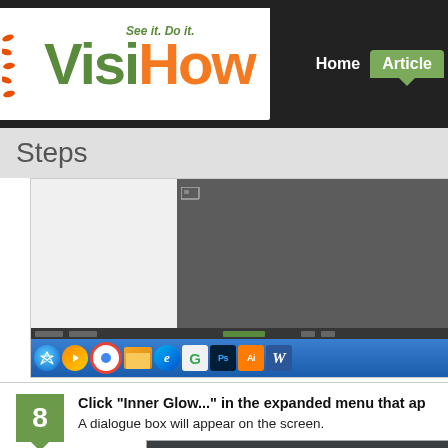VisiHow - See it. Do it. | Home | Articles
Steps
[Figure (screenshot): Screenshot of a Windows desktop showing a dark gray application window (Adobe Illustrator) with the taskbar visible at the bottom containing icons for Windows Start, Media Player, Chrome, File Explorer, IE, Google Toolbar, Photoshop, Illustrator, and Microsoft Word.]
8. Click "Inner Glow..." in the expanded menu that appears. A dialogue box will appear on the screen.
[Figure (screenshot): Screenshot of Adobe Illustrator menu showing Effect menu expanded with Inner Glow option visible.]